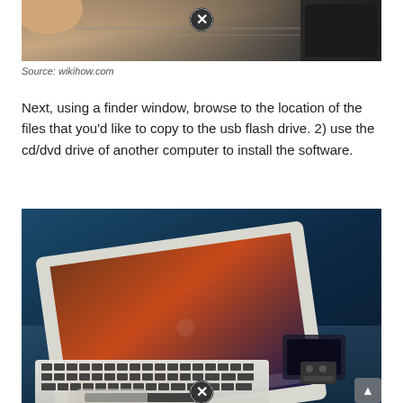[Figure (photo): Partial top crop of a photo showing a hand near a dark device on a reflective surface, with a close/X button overlay]
Source: wikihow.com
Next, using a finder window, browse to the location of the files that you'd like to copy to the usb flash drive. 2) use the cd/dvd drive of another computer to install the software.
[Figure (photo): Photo of a MacBook Air laptop open on a glass surface showing apps on the taskbar and a dark background wallpaper, with accessories visible beside it and a close/X button overlay]